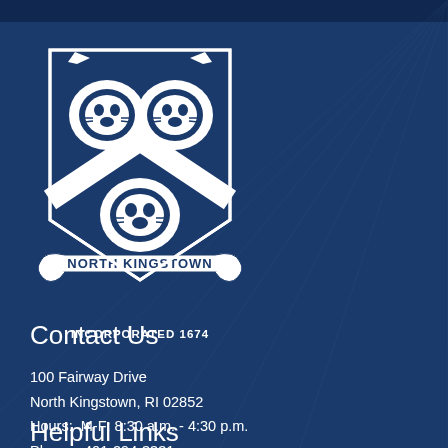[Figure (logo): North Kingstown coat of arms / seal with two lions and a chevron, banner reading NORTH KINGSTOWN, and text INCORPORATED 1674 below]
Contact Us
100 Fairway Drive
North Kingstown, RI 02852
Hours:  M-F: 8:30 a.m. - 4:30 p.m.
Phone:  401-294-3331
Helpful Links